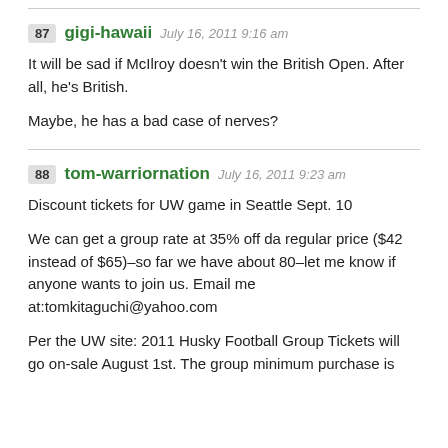87 gigi-hawaii July 16, 2011 9:16 am
It will be sad if McIlroy doesn't win the British Open. After all, he's British.
Maybe, he has a bad case of nerves?
88 tom-warriornation July 16, 2011 9:23 am
Discount tickets for UW game in Seattle Sept. 10
We can get a group rate at 35% off da regular price ($42 instead of $65)–so far we have about 80–let me know if anyone wants to join us. Email me at:tomkitaguchi@yahoo.com
Per the UW site: 2011 Husky Football Group Tickets will go on-sale August 1st. The group minimum purchase is